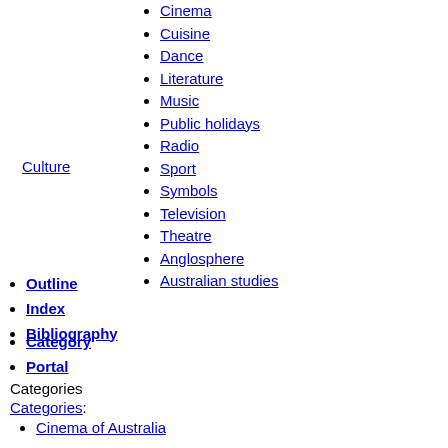Cinema
Cuisine
Dance
Literature
Music
Public holidays
Radio
Sport
Symbols
Television
Theatre
Anglosphere
Australian studies
Culture
Outline
Index
Bibliography
Category
Portal
Categories
Categories:
Cinema of Australia